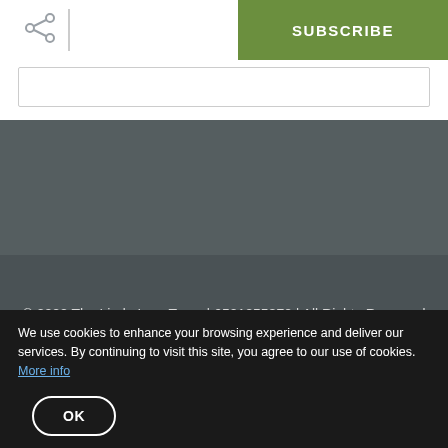[Figure (other): Share icon (network nodes) in top left of white top bar]
[Figure (other): Green SUBSCRIBE button in top right of white top bar]
[Figure (other): Email input field bar below top bar]
only send interesting and relevant emails.
© 2022 The Linda Lom Team | 6501255870 | All Rights Reserved
Privacy Policy
We use cookies to enhance your browsing experience and deliver our services. By continuing to visit this site, you agree to our use of cookies. More info
[Figure (other): OK button with rounded border on cookie banner]